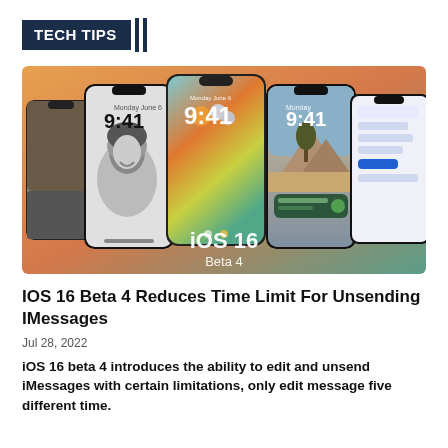TECH TIPS
[Figure (photo): Promotional image for iOS 16 Beta 4 showing multiple iPhones with lock screens displaying time 9:41, including a black and white portrait wallpaper, a colorful gradient wallpaper, a nature/desert scene wallpaper, and iOS notification widgets. Text overlay reads 'iOS 16 Beta 4']
IOS 16 Beta 4 Reduces Time Limit For Unsending IMessages
Jul 28, 2022
iOS 16 beta 4 introduces the ability to edit and unsend iMessages with certain limitations, only edit message five different time.